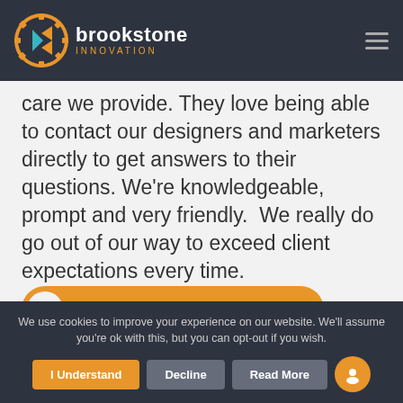brookstone INNOVATION
care we provide. They love being able to contact our designers and marketers directly to get answers to their questions. We’re knowledgeable, prompt and very friendly. We really do go out of our way to exceed client expectations every time.
[Figure (other): Orange rounded button with person icon and text ASK US A QUESTION!]
We use cookies to improve your experience on our website. We'll assume you're ok with this, but you can opt-out if you wish.
I Understand   Decline   Read More